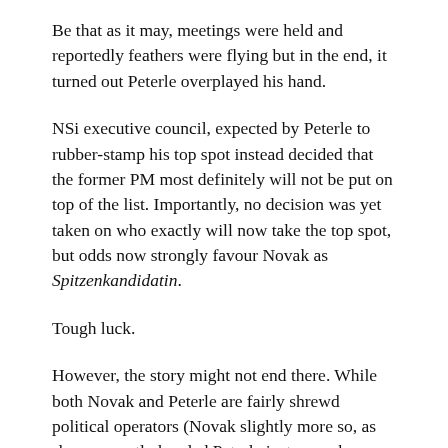Be that as it may, meetings were held and reportedly feathers were flying but in the end, it turned out Peterle overplayed his hand.
NSi executive council, expected by Peterle to rubber-stamp his top spot instead decided that the former PM most definitely will not be put on top of the list. Importantly, no decision was yet taken on who exactly will now take the top spot, but odds now strongly favour Novak as Spitzenkandidatin.
Tough luck.
However, the story might not end there. While both Novak and Peterle are fairly shrewd political operators (Novak slightly more so, as she apparently handed Peterle just enough rope to strangle his own ambitions with), the former PM is not known to go down without a fight.